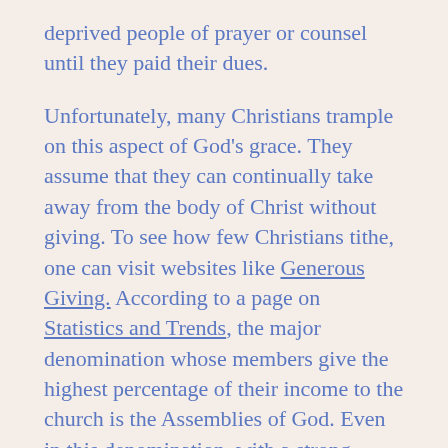deprived people of prayer or counsel until they paid their dues.
Unfortunately, many Christians trample on this aspect of God's grace. They assume that they can continually take away from the body of Christ without giving. To see how few Christians tithe, one can visit websites like Generous Giving. According to a page on Statistics and Trends, the major denomination whose members give the highest percentage of their income to the church is the Assemblies of God. Even in this denomination, with a strong teaching in favor of tithing, the average member gives only about 5% of their income to the ministry. Ironically, the same website claims that